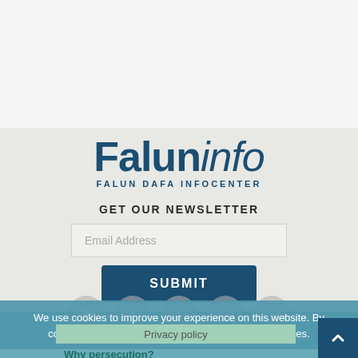[Figure (logo): Faluninfo / Falun Dafa Infocenter logo with bold blue text]
GET OUR NEWSLETTER
Email Address
SUBMIT
[Figure (illustration): Row of social media icons: YouTube, Facebook, Twitter, Instagram, Pinterest]
We use cookies to improve your experience on this website. By continuing to use our site, you accept our use of cookies.
Privacy policy
What is Falun Gong?
Why persecution?